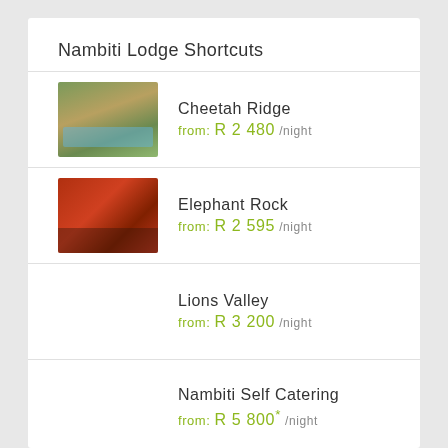Nambiti Lodge Shortcuts
Cheetah Ridge from: R 2 480 /night
Elephant Rock from: R 2 595 /night
Lions Valley from: R 3 200 /night
Nambiti Self Catering from: R 5 800* /night